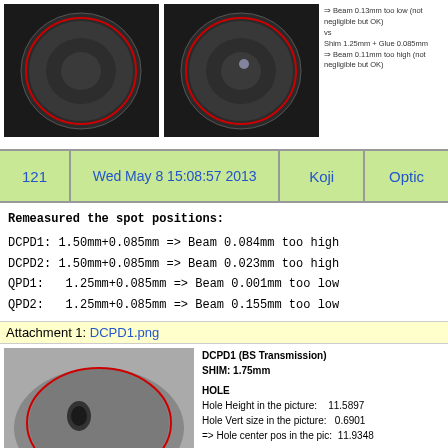[Figure (photo): Two dark circular optical component images side by side with red circles overlaid, with annotation text to the right]
| 121 | Wed May 8 15:08:57 2013 | Koji | Optic... |
| --- | --- | --- | --- |
Remeasured the spot positions:
DCPD1: 1.50mm+0.085mm => Beam 0.084mm too high
DCPD2: 1.50mm+0.085mm => Beam 0.023mm too high
QPD1:  1.25mm+0.085mm => Beam 0.001mm too low
QPD2:  1.25mm+0.085mm => Beam 0.155mm too low
Attachment 1: DCPD1.png
[Figure (photo): DCPD1 (BS Transmission) optical component photo with measurement data table]
DCPD1 (BS Transmission)
SHIM: 1.75mm

HOLE
Hole Height in the picture: 11.5897
Hole Vert size in the picture: 0.6901
=> Hole center pos in the pic: 11.9348

vs

BEAM